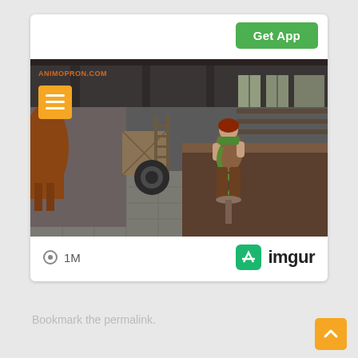Get App
[Figure (screenshot): 3D animated scene screenshot showing a woman sitting on a stool holding a green gun, with a horse partially visible on the left, in an industrial/warehouse setting. Watermark reads ANIMOPRON.COM in the top left corner.]
○ 1M
[Figure (logo): imgur logo: green square icon with arrow and 'imgur' text in dark]
Bookmark the permalink.